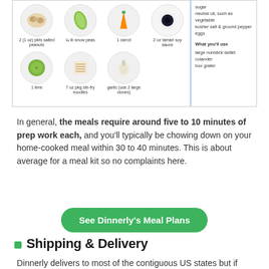[Figure (illustration): Recipe ingredient card showing food items in circles: 2 (1oz) pkts salted peanuts, 1/4 lb snow peas, 1 carrot, 2 oz tamari soy sauce, 1 lime, 7 oz pkg stir-fry noodles, garlic (use 2 large cloves). Sidebar lists: sugar, neutral oil such as vegetable, kosher salt & ground pepper, eggs. What you'll use: large nonstick skillet, colander, box grater.]
In general, the meals require around five to 10 minutes of prep work each, and you'll typically be chowing down on your home-cooked meal within 30 to 40 minutes. This is about average for a meal kit so no complaints here.
[Figure (other): Green rounded button: See Dinnerly's Meal Plans]
Shipping & Delivery
Dinnerly delivers to most of the contiguous US states but if you're someone who likes to pick your own specific